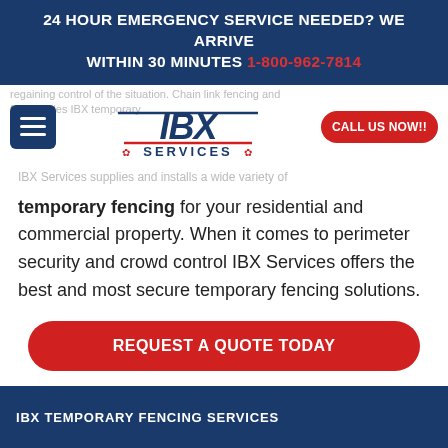24 HOUR EMERGENCY SERVICE NEEDED? WE ARRIVE WITHIN 30 MINUTES 1-800-962-7814
[Figure (logo): IBX Services logo with red and blue text and maple leaf accents]
regaining control of the situation. Chain link fencing and for decades IBX temporary IBX Services supplies and installs a wide variety of
temporary fencing for your residential and commercial property. When it comes to perimeter security and crowd control IBX Services offers the best and most secure temporary fencing solutions.
REQUEST A QUOTE TODAY
IBX TEMPORARY FENCING SERVICES